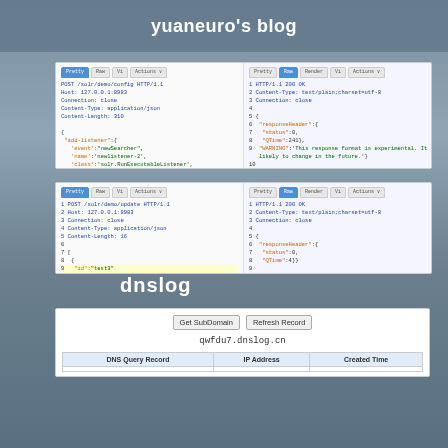yuaneuro's blog
[Figure (screenshot): HTTP request/response panel showing POST /solr/demo/config HTTP/1.1 with add-listener JSON body and HTTP 200 OK response with responseHeader status:0]
[Figure (screenshot): HTTP request/response panel showing POST /solr/demo/update HTTP/1.1 with JSON body {"id":"test3"} and HTTP 200 OK response with responseHeader status:0]
dnslog
[Figure (screenshot): dnslog interface showing Get SubDomain and Refresh Record buttons, domain qwfdu7.dnslog.cn, and a table with DNS Query Record, IP Address, Created Time columns]